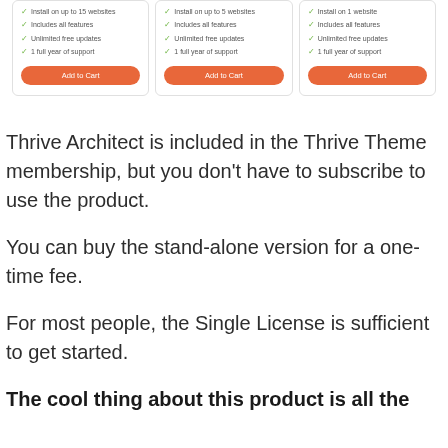[Figure (screenshot): Three pricing cards side by side, each showing feature bullets (Install on up to X websites, Includes all features, Unlimited free updates, 1 full year of support) and an orange 'Add to Cart' button.]
Thrive Architect is included in the Thrive Theme membership, but you don't have to subscribe to use the product.
You can buy the stand-alone version for a one-time fee.
For most people, the Single License is sufficient to get started.
The cool thing about this product is all the